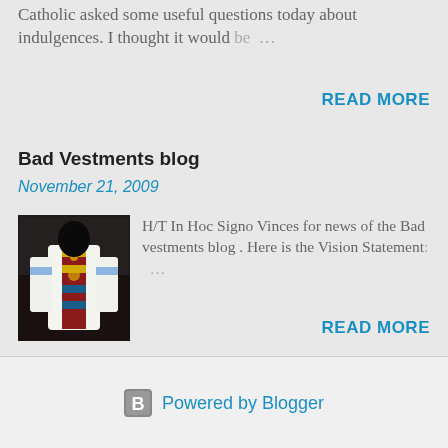Catholic asked some useful questions today about indulgences. I thought it would be …
READ MORE
Bad Vestments blog
November 21, 2009
[Figure (photo): A person wearing liturgical vestments, viewed from behind, in dark setting]
H/T In Hoc Signo Vinces for news of the Bad vestments blog . Here is the Vision Statement: …
READ MORE
Powered by Blogger